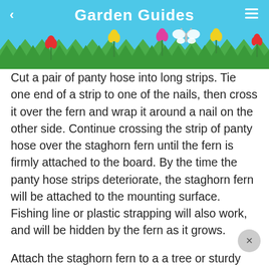Garden Guides
[Figure (illustration): Decorative garden scene header with sky blue background, green grass zigzag pattern, colorful flowers (red, yellow, pink tulips), and a white butterfly silhouette]
Cut a pair of panty hose into long strips. Tie one end of a strip to one of the nails, then cross it over the fern and wrap it around a nail on the other side. Continue crossing the strip of panty hose over the staghorn fern until the fern is firmly attached to the board. By the time the panty hose strips deteriorate, the staghorn fern will be attached to the mounting surface. Fishing line or plastic strapping will also work, and will be hidden by the fern as it grows.
Attach the staghorn fern to a a tree or sturdy fence, where the fern will be in partial shade. Water the staghorn fern once a week by soaking the sphagnum moss.